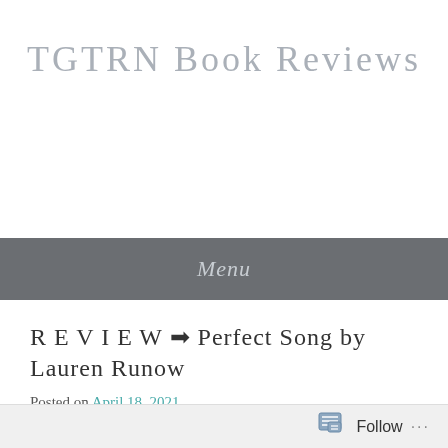TGTRN Book Reviews
Menu
R E V I E W ➡ Perfect Song by Lauren Runow
Posted on April 18, 2021